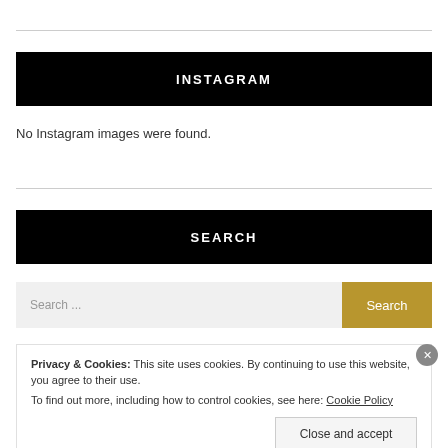INSTAGRAM
No Instagram images were found.
SEARCH
Search ...
Privacy & Cookies: This site uses cookies. By continuing to use this website, you agree to their use.
To find out more, including how to control cookies, see here: Cookie Policy
Close and accept